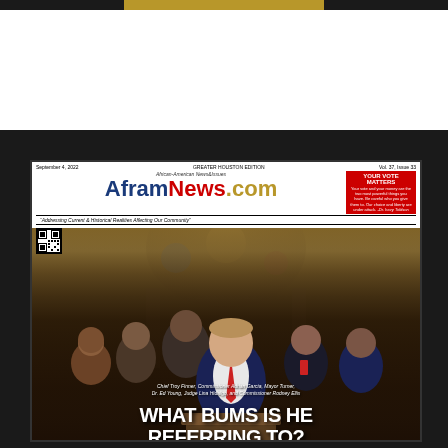[Figure (photo): Newspaper front page of AframNews.com, Greater Houston Edition, Vol. 37 Issue 33, September 4, 2022. Shows a group of political figures including Chief Troy Finner, Commissioner Adrian Garcia, Mayor Turner, Dr. Ed Young, Judge Lina Hidalgo, and Commissioner Rodney Ellis. Headline reads: WHAT BUMS IS HE REFERRING TO?]
Chief Troy Finner, Commissioner Adrian Garcia, Mayor Turner, Dr. Ed Young, Judge Lina Hidalgo, and Commissioner Rodney Ellis
WHAT BUMS IS HE REFERRING TO?
Cont. on Pg. 2